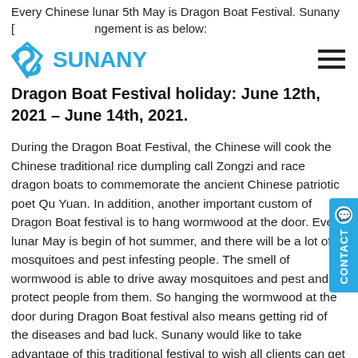Every Chinese lunar 5th May is Dragon Boat Festival. Sunany [arrangement is as below:
[Figure (logo): Sunany company logo with stylized S icon in blue and SUNANY text]
Dragon Boat Festival holiday: June 12th, 2021 – June 14th, 2021.
During the Dragon Boat Festival, the Chinese will cook the Chinese traditional rice dumpling call Zongzi and race dragon boats to commemorate the ancient Chinese patriotic poet Qu Yuan. In addition, another important custom of Dragon Boat festival is to hang wormwood at the door. Every lunar May is begin of hot summer, and there will be a lot of mosquitoes and pest infesting people. The smell of wormwood is able to drive away mosquitoes and pest and protect people from them. So hanging the wormwood at the door during Dragon Boat festival also means getting rid of the diseases and bad luck. Sunany would like to take advantage of this traditional festival to wish all clients can get rid of COVID-19 and business return to normal